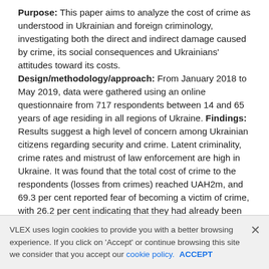Purpose: This paper aims to analyze the cost of crime as understood in Ukrainian and foreign criminology, investigating both the direct and indirect damage caused by crime, its social consequences and Ukrainians' attitudes toward its costs. Design/methodology/approach: From January 2018 to May 2019, data were gathered using an online questionnaire from 717 respondents between 14 and 65 years of age residing in all regions of Ukraine. Findings: Results suggest a high level of concern among Ukrainian citizens regarding security and crime. Latent criminality, crime rates and mistrust of law enforcement are high in Ukraine. It was found that the total cost of crime to the respondents (losses from crimes) reached UAH2m, and 69.3 per cent reported fear of becoming a victim of crime, with 26.2 per cent indicating that they had already been victims. Practical implications: The knowledge of the cost of crime obtained in this study is vital for understanding crime in Ukraine. The results could be effectively leveraged to develop effective and cost-efficient means of combating crime. They could also be used to forecast
VLEX uses login cookies to provide you with a better browsing experience. If you click on 'Accept' or continue browsing this site we consider that you accept our cookie policy.   ACCEPT